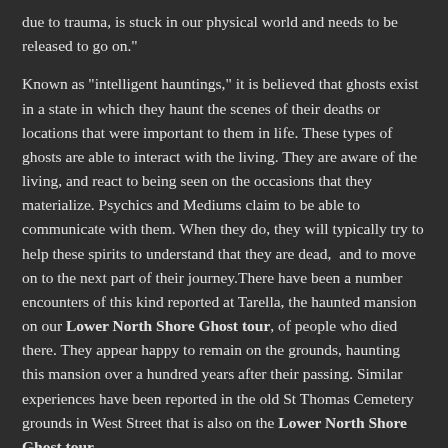due to trauma, is stuck in our physical world and needs to be released to go on."
Known as "intelligent hauntings," it is believed that ghosts exist in a state in which they haunt the scenes of their deaths or locations that were important to them in life. These types of ghosts are able to interact with the living. They are aware of the living, and react to being seen on the occasions that they materialize. Psychics and Mediums claim to be able to communicate with them. When they do, they will typically try to help these spirits to understand that they are dead,  and to move on to the next part of their journey.There have been a number encounters of this kind reported at Tarella, the haunted mansion on our Lower North Shore Ghost tour, of people who died there. They appear happy to remain on the grounds, haunting this mansion over a hundred years after their passing. Similar experiences have been reported in the old St Thomas Cemetery grounds in West Street that is also on the Lower North Shore Ghost tour.
RESIDUAL HAUNTINGS